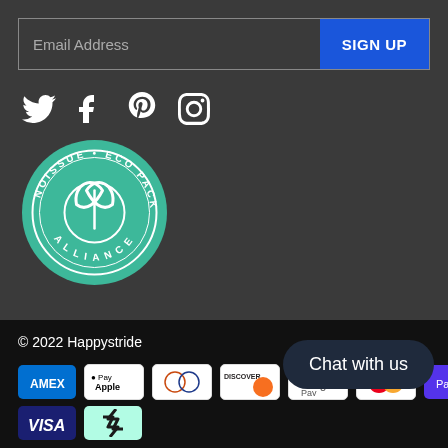[Figure (other): Email signup form with text field 'Email Address' and blue 'SIGN UP' button]
[Figure (other): Social media icons: Twitter, Facebook, Pinterest, Instagram in white on dark background]
[Figure (logo): Noissue Eco Packaging Alliance circular green badge logo with leaf icon]
© 2022 Happystride
[Figure (other): Payment method icons: AMEX, Apple Pay, Diners, Discover, Google Pay, Mastercard, Shopify Pay, Visa, Afterpay]
[Figure (other): Chat with us button]